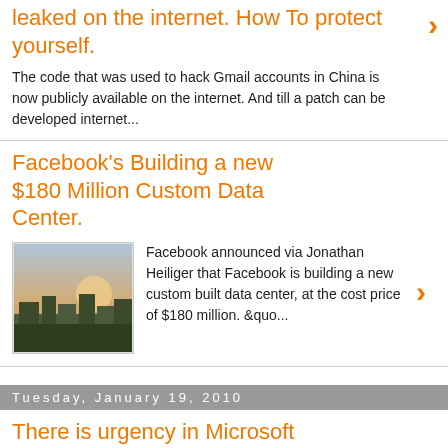leaked on the internet. How To protect yourself.
The code that was used to hack Gmail accounts in China is now publicly available on the internet. And till a patch can be developed internet...
Facebook's Building a new $180 Million Custom Data Center.
Facebook announced via  Jonathan Heiliger  that Facebook is building a new custom built data center, at the cost price of $180 million. &quo...
Tuesday, January 19, 2010
There is urgency in Microsoft to issue an IE patch to fix Flaw
With all the recent news of Google threatening to pull out of China due to security attacks and censorship, Microsoft has responded. The cyb